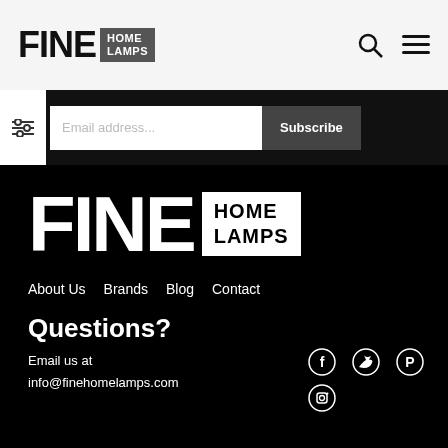FINE HOME LAMPS
Email address...
Subscribe
[Figure (logo): Fine Home Lamps logo large white on black background]
About Us
Brands
Blog
Contact
Questions?
Email us at
info@finehomelamps.com
[Figure (illustration): Social media icons: Facebook, Twitter, Pinterest, Instagram]